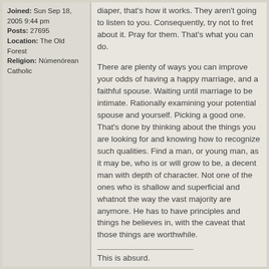Joined: Sun Sep 18, 2005 9:44 pm
Posts: 27695
Location: The Old Forest
Religion: Númenórean Catholic
diaper, that's how it works. They aren't going to listen to you. Consequently, try not to fret about it. Pray for them. That's what you can do.
There are plenty of ways you can improve your odds of having a happy marriage, and a faithful spouse. Waiting until marriage to be intimate. Rationally examining your potential spouse and yourself. Picking a good one. That's done by thinking about the things you are looking for and knowing how to recognize such qualities. Find a man, or young man, as it may be, who is or will grow to be, a decent man with depth of character. Not one of the ones who is shallow and superficial and whatnot the way the vast majority are anymore. He has to have principles and things he believes in, with the caveat that those things are worthwhile.
This is absurd.